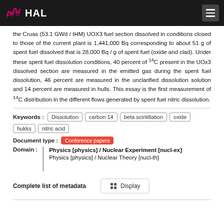HAL
the Cruas (53.1 GWd / tHM) UOX3 fuel section dissolved in conditions closed to those of the current plant is 1,441,000 Bq corresponding to about 51 g of spent fuel dissolved that is 28,000 Bq / g of spent fuel (oxide and clad). Under these spent fuel dissolution conditions, 40 percent of 14C present in the UOx3 dissolved section are measured in the emitted gas during the spent fuel dissolution, 46 percent are measured in the unclarified dissolution solution and 14 percent are measured in hulls. This essay is the first measurement of 14C distribution in the different flows generated by spent fuel nitric dissolution.
Keywords: Dissolution, carbon 14, beta scintillation, oxide, hukks, nitric acid
Document type: Conference papers
Domain: Physics [physics] / Nuclear Experiment [nucl-ex]; Physics [physics] / Nuclear Theory [nucl-th]
Complete list of metadata  Display